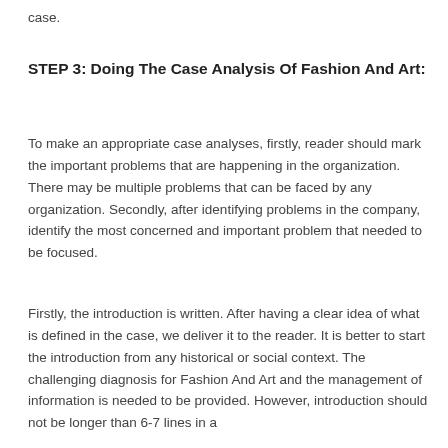case.
STEP 3: Doing The Case Analysis Of Fashion And Art:
To make an appropriate case analyses, firstly, reader should mark the important problems that are happening in the organization. There may be multiple problems that can be faced by any organization. Secondly, after identifying problems in the company, identify the most concerned and important problem that needed to be focused.
Firstly, the introduction is written. After having a clear idea of what is defined in the case, we deliver it to the reader. It is better to start the introduction from any historical or social context. The challenging diagnosis for Fashion And Art and the management of information is needed to be provided. However, introduction should not be longer than 6-7 lines in a